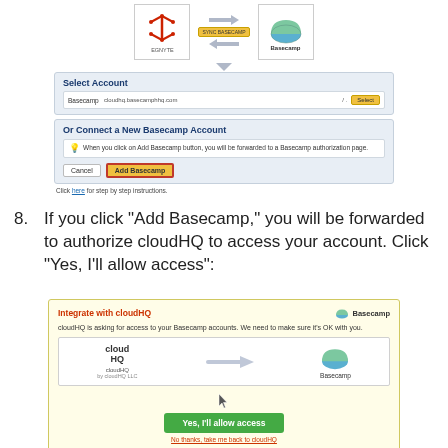[Figure (screenshot): Egnyte to Basecamp integration UI showing Select Account panel with Basecamp row and Select button, and Or Connect a New Basecamp Account panel with Add Basecamp button highlighted in red border]
8.  If you click "Add Basecamp," you will be forwarded to authorize cloudHQ to access your account. Click "Yes, I'll allow access":
[Figure (screenshot): Basecamp authorization page on cloudHQ showing Integrate with cloudHQ header, cloudHQ and Basecamp logos, Yes I'll allow access green button, and No thanks link]